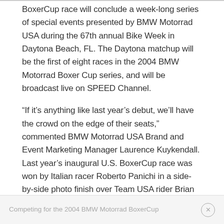BoxerCup race will conclude a week-long series of special events presented by BMW Motorrad USA during the 67th annual Bike Week in Daytona Beach, FL. The Daytona matchup will be the first of eight races in the 2004 BMW Motorrad Boxer Cup series, and will be broadcast live on SPEED Channel.
“If it’s anything like last year’s debut, we’ll have the crowd on the edge of their seats,” commented BMW Motorrad USA Brand and Event Marketing Manager Laurence Kuykendall. Last year’s inaugural U.S. BoxerCup race was won by Italian racer Roberto Panichi in a side-by-side photo finish over Team USA rider Brian Parriott.
Competing for the 2004 BMW Motorrad BoxerCup